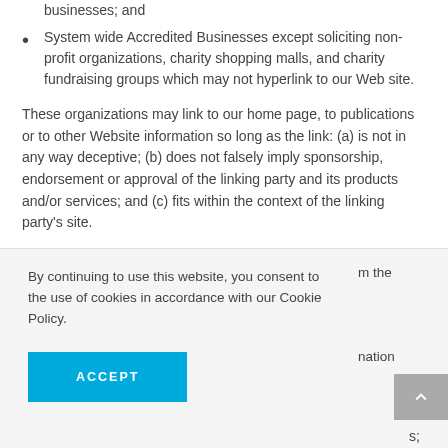businesses; and
System wide Accredited Businesses except soliciting non-profit organizations, charity shopping malls, and charity fundraising groups which may not hyperlink to our Web site.
These organizations may link to our home page, to publications or to other Website information so long as the link: (a) is not in any way deceptive; (b) does not falsely imply sponsorship, endorsement or approval of the linking party and its products and/or services; and (c) fits within the context of the linking party's site.
By continuing to use this website, you consent to the use of cookies in accordance with our Cookie Policy.
ACCEPT